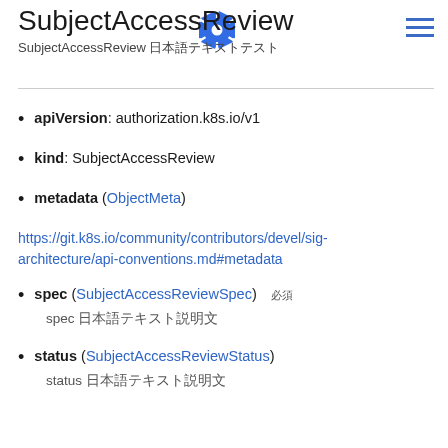SubjectAccessReview
SubjectAccessReview 日本語テキスト
apiVersion: authorization.k8s.io/v1
kind: SubjectAccessReview
metadata (ObjectMeta)
https://git.k8s.io/community/contributors/devel/sig-architecture/api-conventions.md#metadata
spec (SubjectAccessReviewSpec) 必須
spec 日本語テキスト説明文
status (SubjectAccessReviewStatus)
status 日本語テキスト説明文